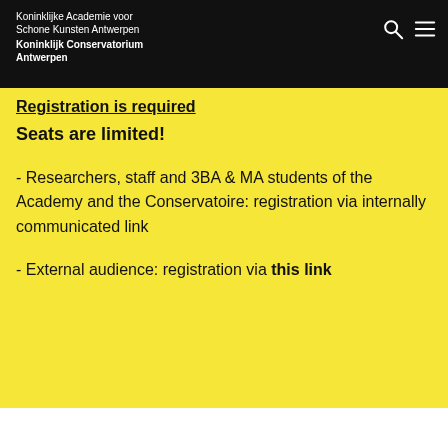Koninklijke Academie voor Schone Kunsten Antwerpen
Koninklijk Conservatorium Antwerpen
Registration is required
Seats are limited!
- Researchers, staff and 3BA & MA students of the Academy and the Conservatoire: registration via internally communicated link
- External audience: registration via this link